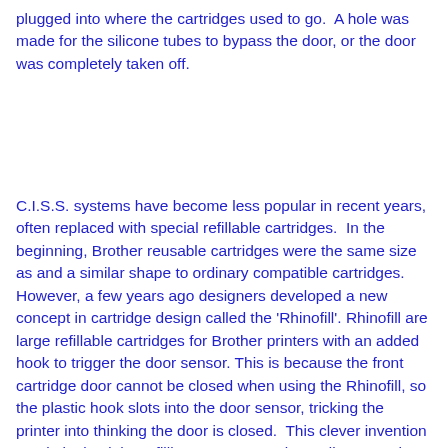plugged into where the cartridges used to go.  A hole was made for the silicone tubes to bypass the door, or the door was completely taken off.
C.I.S.S. systems have become less popular in recent years, often replaced with special refillable cartridges.  In the beginning, Brother reusable cartridges were the same size as and a similar shape to ordinary compatible cartridges. However, a few years ago designers developed a new concept in cartridge design called the 'Rhinofill'. Rhinofill are large refillable cartridges for Brother printers with an added hook to trigger the door sensor. This is because the front cartridge door cannot be closed when using the Rhinofill, so the plastic hook slots into the door sensor, tricking the printer into thinking the door is closed.  This clever invention revolutionized the refilling process, turning ordinary Brother printers into fully refillable printing